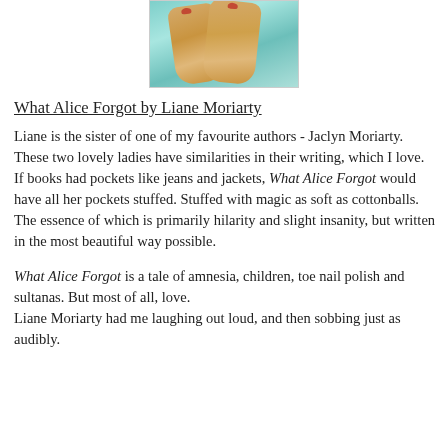[Figure (photo): Photo of two feet with red toenails resting on a light turquoise/teal surface, likely water or pool edge.]
What Alice Forgot by Liane Moriarty
Liane is the sister of one of my favourite authors - Jaclyn Moriarty. These two lovely ladies have similarities in their writing, which I love. If books had pockets like jeans and jackets, What Alice Forgot would have all her pockets stuffed. Stuffed with magic as soft as cottonballs. The essence of which is primarily hilarity and slight insanity, but written in the most beautiful way possible.
What Alice Forgot is a tale of amnesia, children, toe nail polish and sultanas. But most of all, love.
Liane Moriarty had me laughing out loud, and then sobbing just as audibly.